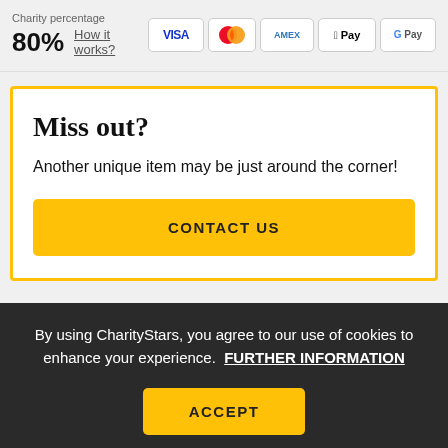Charity percentage
80%  How it works?
[Figure (other): Payment method icons: VISA, Mastercard, AMEX, Apple Pay, Google Pay]
Miss out?
Another unique item may be just around the corner!
CONTACT US
By using CharityStars, you agree to our use of cookies to enhance your experience.  FURTHER INFORMATION
ACCEPT